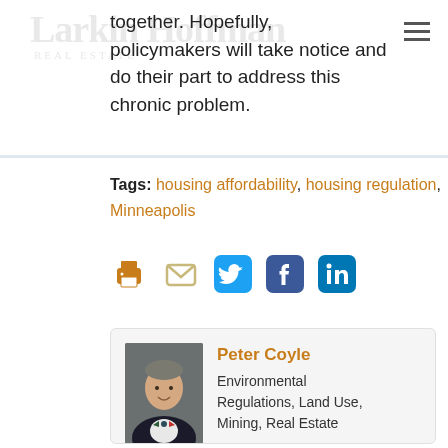together. Hopefully, policymakers will take notice and do their part to address this chronic problem.
Tags: housing affordability, housing regulation, Minneapolis
[Figure (other): Social sharing icons: print, email, Twitter, Facebook, LinkedIn]
[Figure (photo): Headshot of Peter Coyle wearing a suit and bow tie]
Peter Coyle
Environmental Regulations, Land Use, Mining, Real Estate